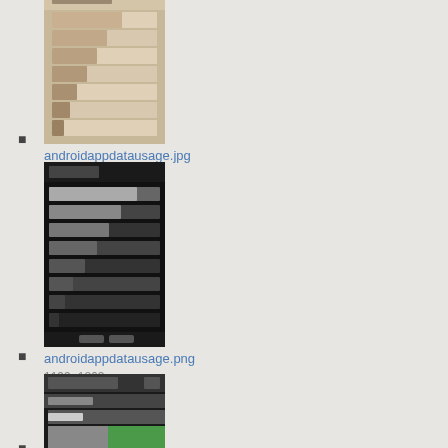[Figure (screenshot): Thumbnail of androidappdatausage.jpg - Android data usage screen with dark/light theme horizontal bar list]
androidappdatausage.jpg
403×642
2013/07/30 23:00
59.4 KB
[Figure (screenshot): Thumbnail of androidappdatausage.png - Android data usage screen black background with white horizontal bars]
androidappdatausage.png
1199×1863
2014/10/01 15:48
105.1 KB
[Figure (screenshot): Thumbnail of androidcellulardata.jpg - Android cellular data screen with green chart area]
androidcellulardata.jpg